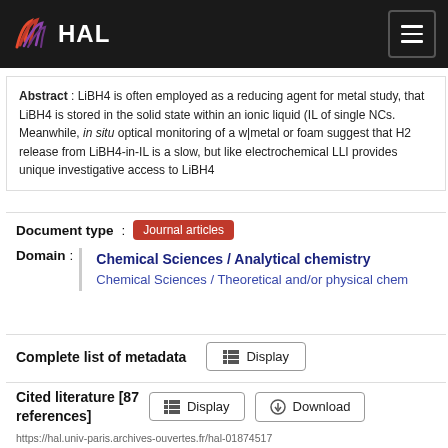HAL
Abstract : LiBH4 is often employed as a reducing agent for metal study, that LiBH4 is stored in the solid state within an ionic liquid (IL of single NCs. Meanwhile, in situ optical monitoring of a w|metal or foam suggest that H2 release from LiBH4-in-IL is a slow, but like electrochemical LLI provides unique investigative access to LiBH4
Document type : Journal articles
Domain : Chemical Sciences / Analytical chemistry
Chemical Sciences / Theoretical and/or physical chem
Complete list of metadata  Display
Cited literature [87 references]  Display  Download
https://hal.univ-paris.archives-ouvertes.fr/hal-01874517